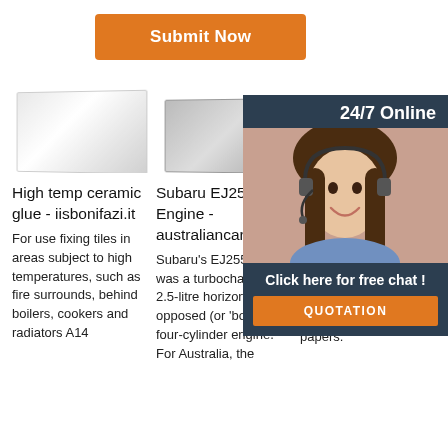[Figure (other): Orange Submit Now button]
[Figure (photo): White ceramic box/container product image]
[Figure (photo): Gray ceramic box/container product image]
[Figure (photo): Small gray ceramic box product image partially visible]
[Figure (photo): 24/7 Online chat support panel with smiling female agent wearing headset, 'Click here for free chat!' text and orange QUOTATION button]
High temp ceramic glue - iisbonifazi.it
For use fixing tiles in areas subject to high temperatures, such as fire surrounds, behind boilers, cookers and radiators A14
Subaru EJ255 Engine - australiancar.reviews
Subaru's EJ255 engine was a turbocharged 2.5-litre horizontally-opposed (or 'boxer') four-cylinder engine. For Australia, the
(PDF) CONCRETE TECHNOLOGY: THEORY AND PRACTICE
Academia.edu is a platform for academics to share research papers.
[Figure (logo): TOP badge logo with orange dots and text]